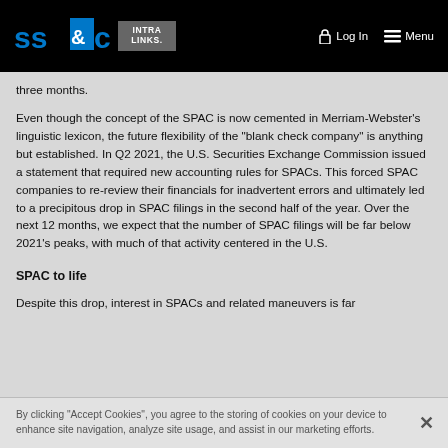SS&C Intralinks | Log In | Menu
three months.
Even though the concept of the SPAC is now cemented in Merriam-Webster's linguistic lexicon, the future flexibility of the "blank check company" is anything but established. In Q2 2021, the U.S. Securities Exchange Commission issued a statement that required new accounting rules for SPACs. This forced SPAC companies to re-review their financials for inadvertent errors and ultimately led to a precipitous drop in SPAC filings in the second half of the year. Over the next 12 months, we expect that the number of SPAC filings will be far below 2021's peaks, with much of that activity centered in the U.S.
SPAC to life
Despite this drop, interest in SPACs and related maneuvers is far
By clicking "Accept Cookies", you agree to the storing of cookies on your device to enhance site navigation, analyze site usage, and assist in our marketing efforts.